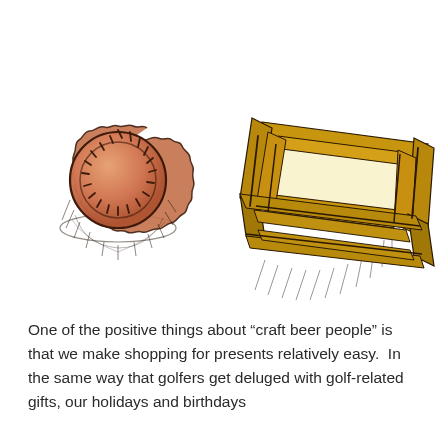[Figure (illustration): Hand-drawn illustration showing two objects: on the left, a round beer bottle cap (drawn in orange/salmon watercolor with dark brown ink hatching around the edges), and on the right, a rectangular wooden box or crate frame (drawn with golden-yellow marker and dark ink crosshatching shadow underneath), lying on its side at a slight angle.]
One of the positive things about “craft beer people” is that we make shopping for presents relatively easy.  In the same way that golfers get deluged with golf-related gifts, our holidays and birthdays